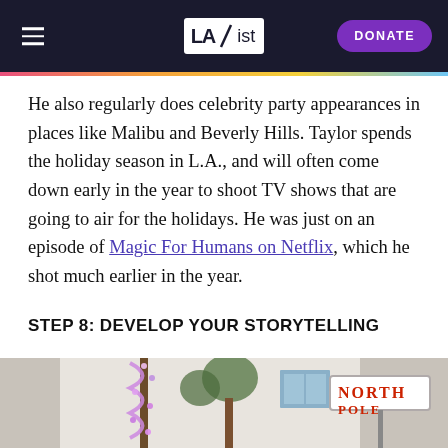LAist | DONATE
He also regularly does celebrity party appearances in places like Malibu and Beverly Hills. Taylor spends the holiday season in L.A., and will often come down early in the year to shoot TV shows that are going to air for the holidays. He was just on an episode of Magic For Humans on Netflix, which he shot much earlier in the year.
STEP 8: DEVELOP YOUR STORYTELLING
[Figure (photo): Outdoor street scene with holiday decorations including lights wrapped around a palm tree and a North Pole street sign against a white building background.]